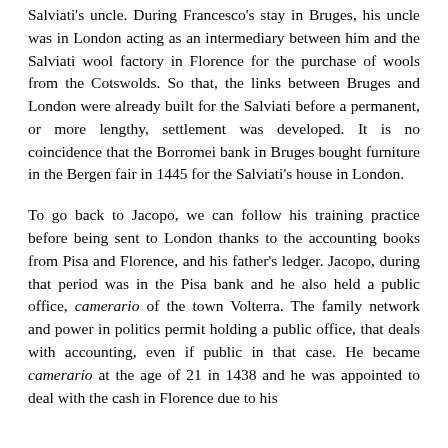Salviati's uncle. During Francesco's stay in Bruges, his uncle was in London acting as an intermediary between him and the Salviati wool factory in Florence for the purchase of wools from the Cotswolds. So that, the links between Bruges and London were already built for the Salviati before a permanent, or more lengthy, settlement was developed. It is no coincidence that the Borromei bank in Bruges bought furniture in the Bergen fair in 1445 for the Salviati's house in London.
To go back to Jacopo, we can follow his training practice before being sent to London thanks to the accounting books from Pisa and Florence, and his father's ledger. Jacopo, during that period was in the Pisa bank and he also held a public office, camerario of the town Volterra. The family network and power in politics permit holding a public office, that deals with accounting, even if public in that case. He became camerario at the age of 21 in 1438 and he was appointed to deal with the cash in Florence due to his